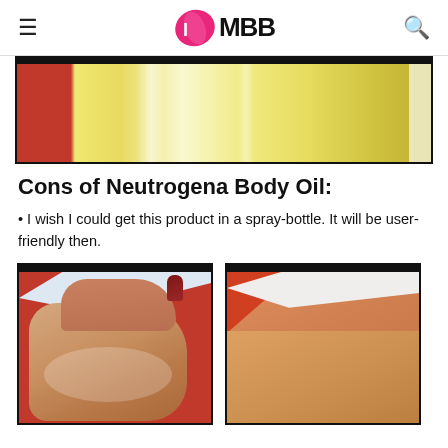IMBB
[Figure (photo): Close-up photo of a Neutrogena body oil bottle with yellowish/golden oil visible inside, with a red background element on the left side.]
Cons of Neutrogena Body Oil:
I wish I could get this product in a spray-bottle. It will be user-friendly then.
[Figure (photo): Left photo showing a hand with oily/shiny palm with red fingernails, demonstrating the body oil texture on skin. Right photo showing a close-up of skin/arm after applying body oil, with red and white background elements visible at the top.]